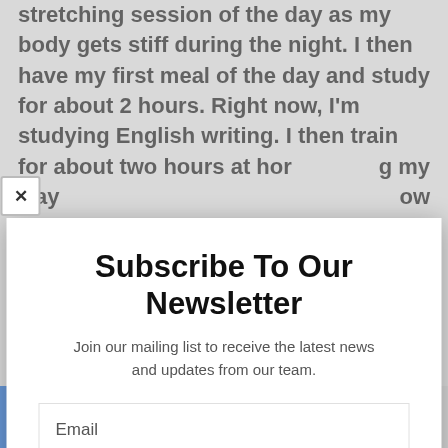stretching session of the day as my body gets stiff during the night. I then have my first meal of the day and study for about 2 hours. Right now, I'm studying English writing. I then train for about two hours at home... making my way... now make... ain for a... platform... move... relax before... ve f... Pr... we... To... Po... b... n
[Figure (screenshot): Newsletter subscription modal overlay with title 'Subscribe To Our Newsletter', subtitle 'Join our mailing list to receive the latest news and updates from our team.', an email input field, and a teal SUBSCRIBE! button. A close (X) button appears in the top-left corner of the modal.]
2 SHARES